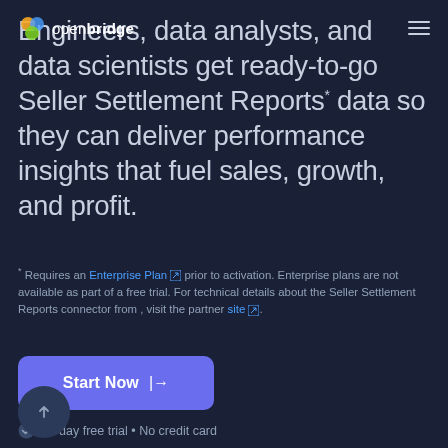open bridge [logo] [hamburger menu]
Engineers, data analysts, and data scientists get ready-to-go Seller Settlement Reports* data so they can deliver performance insights that fuel sales, growth, and profit.
* Requires an Enterprise Plan prior to activation. Enterprise plans are not available as part of a free trial. For technical details about the Seller Settlement Reports connector from , visit the partner site.
Start Now →
30-day free trial • No credit card